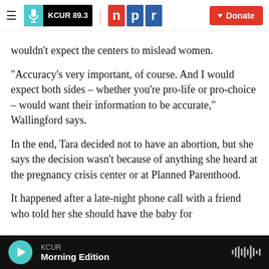KCUR 89.3 | npr | Donate
wouldn't expect the centers to mislead women.
“Accuracy’s very important, of course. And I would expect both sides – whether you’re pro-life or pro-choice – would want their information to be accurate,” Wallingford says.
In the end, Tara decided not to have an abortion, but she says the decision wasn’t because of anything she heard at the pregnancy crisis center or at Planned Parenthood.
It happened after a late-night phone call with a friend who told her she should have the baby for
KCUR | Morning Edition